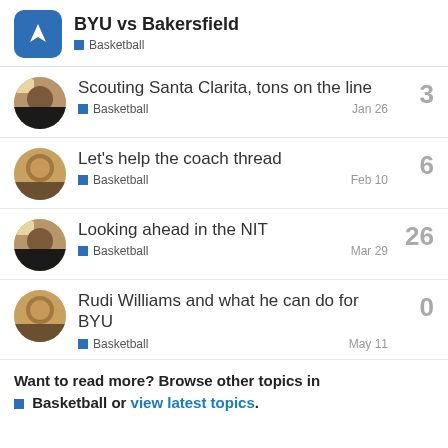BYU vs Bakersfield
Basketball
Scouting Santa Clarita, tons on the line — Basketball — Jan 26 — 3 replies
Let's help the coach thread — Basketball — Feb 10 — 6 replies
Looking ahead in the NIT — Basketball — Mar 29 — 26 replies
Rudi Williams and what he can do for BYU — Basketball — May 11 — 0 replies
Want to read more? Browse other topics in Basketball or view latest topics.